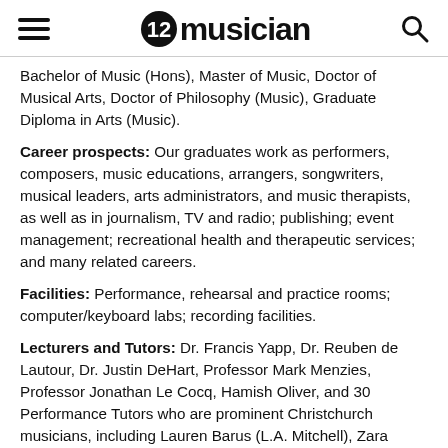12musician
Bachelor of Music (Hons), Master of Music, Doctor of Musical Arts, Doctor of Philosophy (Music), Graduate Diploma in Arts (Music).
Career prospects: Our graduates work as performers, composers, music educations, arrangers, songwriters, musical leaders, arts administrators, and music therapists, as well as in journalism, TV and radio; publishing; event management; recreational health and therapeutic services; and many related careers.
Facilities: Performance, rehearsal and practice rooms; computer/keyboard labs; recording facilities.
Lecturers and Tutors: Dr. Francis Yapp, Dr. Reuben de Lautour, Dr. Justin DeHart, Professor Mark Menzies, Professor Jonathan Le Cocq, Hamish Oliver, and 30 Performance Tutors who are prominent Christchurch musicians, including Lauren Barus (L.A. Mitchell), Zara